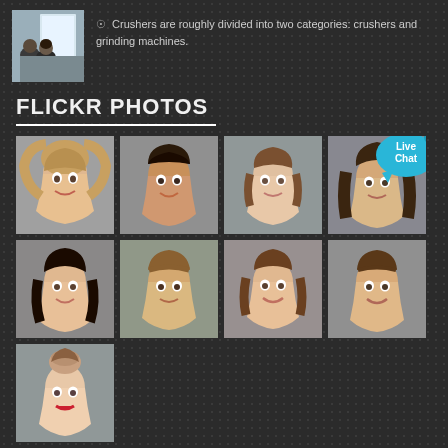[Figure (photo): Small photo of people at a classroom/workshop setting, viewed from behind]
Crushers are roughly divided into two categories: crushers and grinding machines.
FLICKR PHOTOS
[Figure (photo): Grid of 9 portrait photos of diverse people (headshots). Row 1: blonde woman smiling, South Asian man, brunette woman, man with long hair. Row 2: dark-haired woman, man with short hair, brunette woman smiling, man smiling. Row 3: woman with hair up, red lips.]
[Figure (infographic): Live Chat bubble overlay on top-right portrait photo]